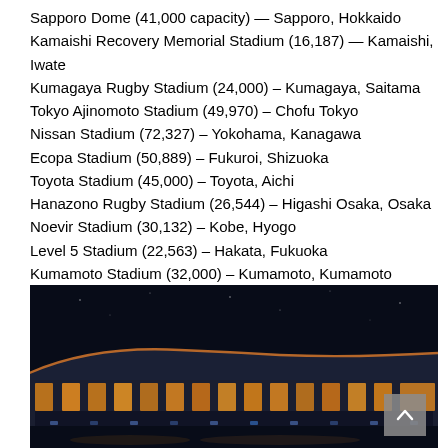Sapporo Dome (41,000 capacity) — Sapporo, Hokkaido
Kamaishi Recovery Memorial Stadium (16,187) — Kamaishi, Iwate
Kumagaya Rugby Stadium (24,000) – Kumagaya, Saitama
Tokyo Ajinomoto Stadium (49,970) – Chofu Tokyo
Nissan Stadium (72,327) – Yokohama, Kanagawa
Ecopa Stadium (50,889) – Fukuroi, Shizuoka
Toyota Stadium (45,000) – Toyota, Aichi
Hanazono Rugby Stadium (26,544) – Higashi Osaka, Osaka
Noevir Stadium (30,132) – Kobe, Hyogo
Level 5 Stadium (22,563) – Hakata, Fukuoka
Kumamoto Stadium (32,000) – Kumamoto, Kumamoto
Oita Stadium (40,000) – Yokoo, Oita
[Figure (photo): Night-time exterior photograph of a stadium illuminated with orange and yellow lights against a dark blue/black sky, showing the curved roof structure and facade of the stadium.]